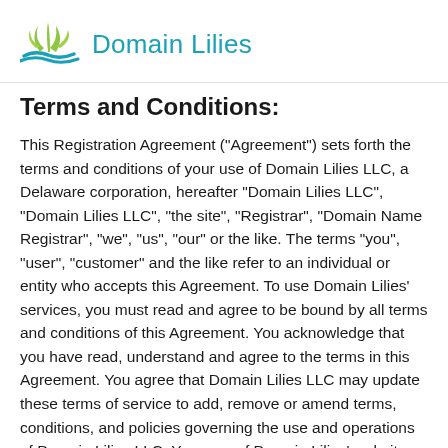Domain Lilies
Terms and Conditions:
This Registration Agreement ("Agreement") sets forth the terms and conditions of your use of Domain Lilies LLC, a Delaware corporation, hereafter "Domain Lilies LLC", "Domain Lilies LLC", "the site", "Registrar", "Domain Name Registrar", "we", "us", "our" or the like. The terms "you", "user", "customer" and the like refer to an individual or entity who accepts this Agreement. To use Domain Lilies' services, you must read and agree to be bound by all terms and conditions of this Agreement. You acknowledge that you have read, understand and agree to the terms in this Agreement. You agree that Domain Lilies LLC may update these terms of service to add, remove or amend terms, conditions, and policies governing the use and operations of Domain Lilies LLC. Your use of Domain Lilies' website and/or services after such changes have been made…